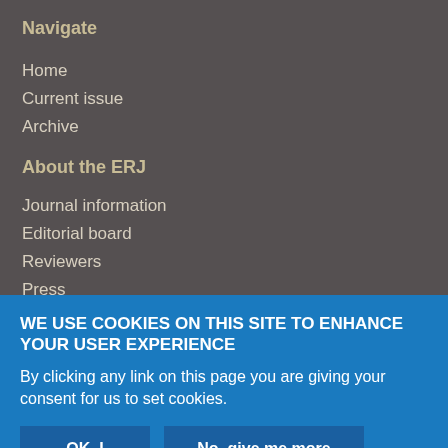Navigate
Home
Current issue
Archive
About the ERJ
Journal information
Editorial board
Reviewers
Press
WE USE COOKIES ON THIS SITE TO ENHANCE YOUR USER EXPERIENCE
By clicking any link on this page you are giving your consent for us to set cookies.
OK, I agree | No, give me more info